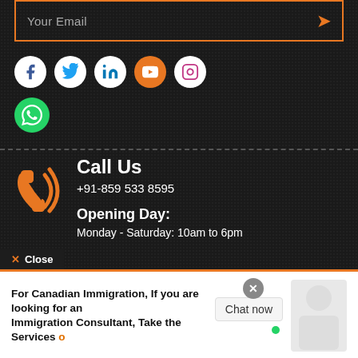Your Email
[Figure (infographic): Social media icons row: Facebook, Twitter, LinkedIn, YouTube, Instagram (white circles), and a green WhatsApp icon below]
Call Us
+91-859 533 8595
Opening Day:
Monday - Saturday: 10am to 6pm
Email Us
web@visaexperts.com
× Close
For Canadian Immigration, If you are looking for an Immigration Consultant, Take the Services of Authorized Person Indian Read More...